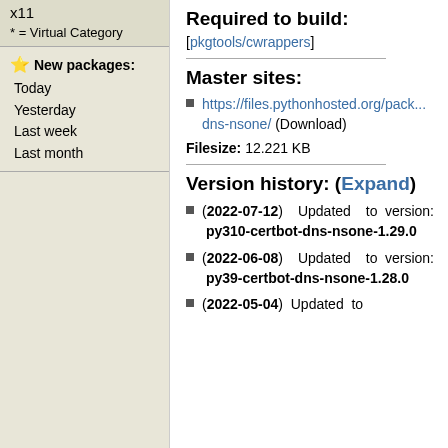x11
* = Virtual Category
New packages:
Today
Yesterday
Last week
Last month
Required to build:
[pkgtools/cwrappers]
Master sites:
https://files.pythonhosted.org/pack...dns-nsone/ (Download)
Filesize: 12.221 KB
Version history: (Expand)
(2022-07-12) Updated to version: py310-certbot-dns-nsone-1.29.0
(2022-06-08) Updated to version: py39-certbot-dns-nsone-1.28.0
(2022-05-04) Updated to version: